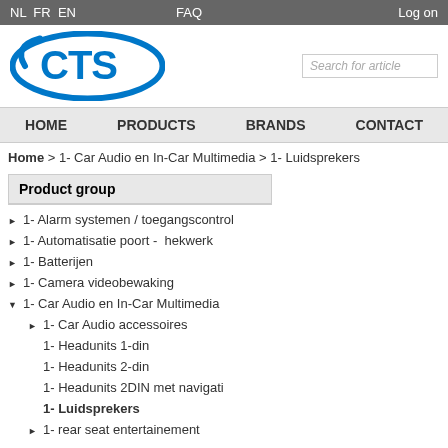NL FR EN  FAQ  Log on
[Figure (logo): CTS logo — blue oval with CTS text]
Search for article
HOME  PRODUCTS  BRANDS  CONTACT
Home > 1- Car Audio en In-Car Multimedia > 1- Luidsprekers
Product group
1- Alarm systemen / toegangscontrol
1- Automatisatie poort -  hekwerk
1- Batterijen
1- Camera videobewaking
1- Car Audio en In-Car Multimedia
1- Car Audio accessoires
1- Headunits 1-din
1- Headunits 2-din
1- Headunits 2DIN met navigati
1- Luidsprekers
1- rear seat entertainement